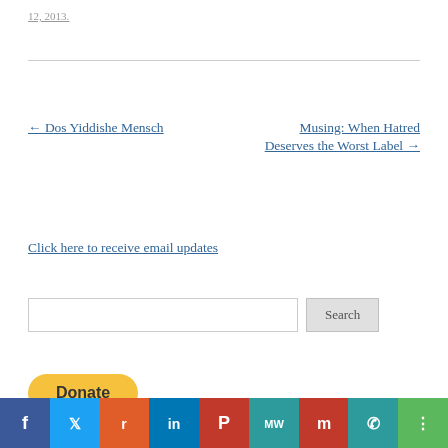12, 2013.
← Dos Yiddishe Mensch
Musing: When Hatred Deserves the Worst Label →
Click here to receive email updates
[Figure (other): Search input field with Search button]
[Figure (other): PayPal Donate button (yellow/gold rounded rectangle)]
[Figure (other): Social sharing bar with Facebook, Twitter, Reddit, LinkedIn, Pinterest, MeWe, Mix, WhatsApp, Share icons]